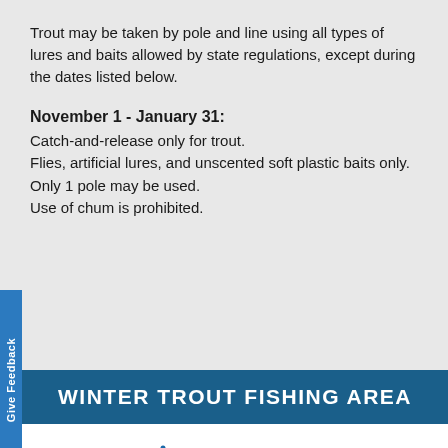Trout may be taken by pole and line using all types of lures and baits allowed by state regulations, except during the dates listed below.
November 1 - January 31:
Catch-and-release only for trout.
Flies, artificial lures, and unscented soft plastic baits only.
Only 1 pole may be used.
Use of chum is prohibited.
WINTER TROUT FISHING AREA
[Figure (illustration): Winter trout fishing area icon: a snowflake overlapping a fish silhouette in blue tones]
Fishing is permitted year-round during normal park or area hours. Unless indicated in the area rules, trout may be taken by pole and line using all types of lures and baits under statewide limits. A trout permit